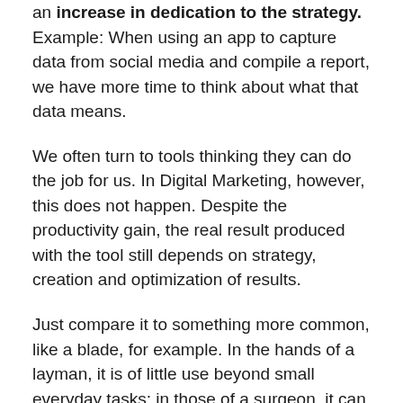an increase in dedication to the strategy. Example: When using an app to capture data from social media and compile a report, we have more time to think about what that data means.
We often turn to tools thinking they can do the job for us. In Digital Marketing, however, this does not happen. Despite the productivity gain, the real result produced with the tool still depends on strategy, creation and optimization of results.
Just compare it to something more common, like a blade, for example. In the hands of a layman, it is of little use beyond small everyday tasks; in those of a surgeon, it can save lives. The tool is the same, it changes who operates it. But, of course, the tool needs to be adequate.